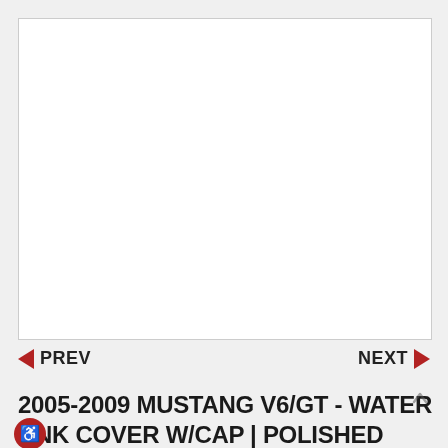[Figure (photo): White blank product image area with light gray border]
◄ PREV    NEXT ►
2005-2009 MUSTANG V6/GT - WATER TANK COVER W/CAP | POLISHED